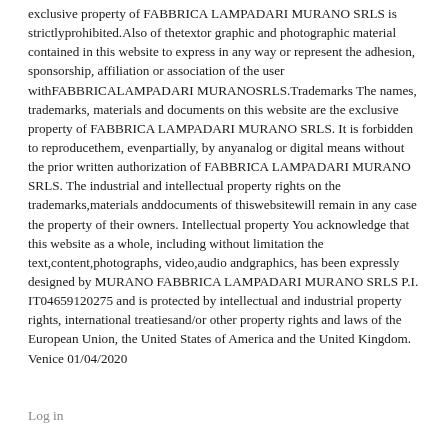exclusive property of FABBRICA LAMPADARI MURANO SRLS is strictlyprohibited.Also of thetextor graphic and photographic material contained in this website to express in any way or represent the adhesion, sponsorship, affiliation or association of the user withFABBRICALAMPADARI MURANOSRLS.Trademarks The names, trademarks, materials and documents on this website are the exclusive property of FABBRICA LAMPADARI MURANO SRLS. It is forbidden to reproducethem, evenpartially, by anyanalog or digital means without the prior written authorization of FABBRICA LAMPADARI MURANO SRLS. The industrial and intellectual property rights on the trademarks,materials anddocuments of thiswebsitewill remain in any case the property of their owners. Intellectual property You acknowledge that this website as a whole, including without limitation the text,content,photographs, video,audio andgraphics, has been expressly designed by MURANO FABBRICA LAMPADARI MURANO SRLS P.I. IT04659120275 and is protected by intellectual and industrial property rights, international treatiesand/or other property rights and laws of the European Union, the United States of America and the United Kingdom. Venice 01/04/2020
Log in